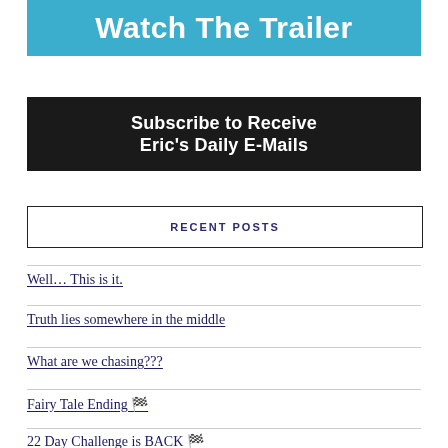[Figure (other): Blue banner with white bold text reading 'Watch The Trailer']
[Figure (other): Black banner with white bold text reading 'Subscribe to Receive Eric's Daily E-Mails']
RECENT POSTS
Well… This is it.
Truth lies somewhere in the middle
What are we chasing???
Fairy Tale Ending 🏁
22 Day Challenge is BACK 🏁